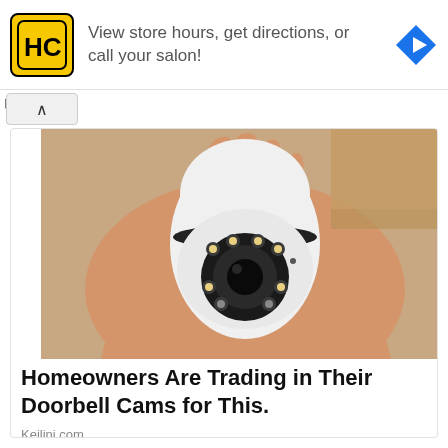[Figure (logo): HC (Hair Cuttery) yellow square logo with black border]
View store hours, get directions, or call your salon!
[Figure (logo): Blue diamond navigation/directions icon with white arrow]
[Figure (photo): A hand holding a small white security camera with LED ring and camera lens facing forward]
Homeowners Are Trading in Their Doorbell Cams for This.
Keilini.com